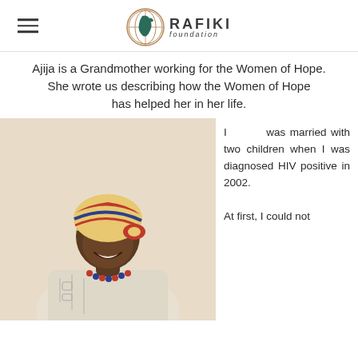RAFIKI foundation
Ajija is a Grandmother working for the Women of Hope. She wrote us describing how the Women of Hope has helped her in her life.
[Figure (photo): A smiling elderly African woman wearing a colorful headwrap and beaded necklace, dressed in a white patterned traditional garment]
I was married with two children when I was diagnosed HIV positive in 2002.

At first, I could not